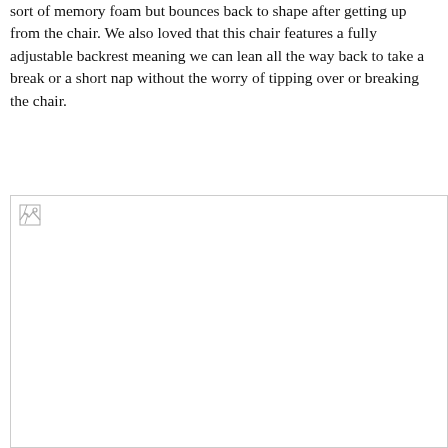sort of memory foam but bounces back to shape after getting up from the chair. We also loved that this chair features a fully adjustable backrest meaning we can lean all the way back to take a break or a short nap without the worry of tipping over or breaking the chair.
[Figure (photo): A broken/missing image placeholder (image failed to load), shown as a bordered rectangle with a small broken image icon in the top-left corner.]